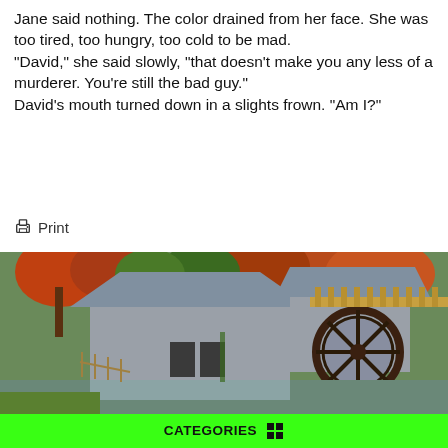Jane said nothing. The color drained from her face. She was too tired, too hungry, too cold to be mad.
"David," she said slowly, "that doesn't make you any less of a murderer. You're still the bad guy."
David's mouth turned down in a slights frown. "Am I?"
🖶 Print
[Figure (photo): Painting of a historic water mill building with a large wooden water wheel on the right side. The mill is gray-colored with a sloped roof. Autumn foliage with red and orange trees is visible in the background. Green grass and a stream or waterfall are visible in the foreground.]
CATEGORIES ⊞